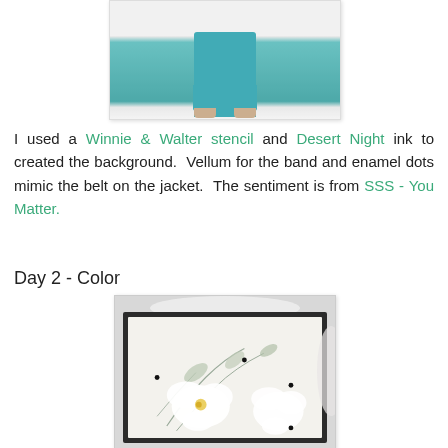[Figure (photo): Fashion/runway photo showing lower body of a person wearing teal harem-style pants, partially cropped]
I used a Winnie & Walter stencil and Desert Night ink to created the background. Vellum for the band and enamel dots mimic the belt on the jacket. The sentiment is from SSS - You Matter.
Day 2 - Color
[Figure (photo): Handmade greeting card featuring white floral/magnolia design with gray leaves on cream background, mounted on black mat, with small gold enamel dot detail and lace doily accent]